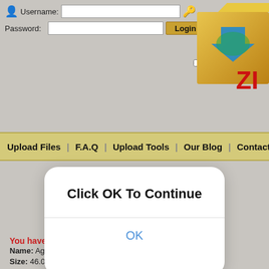[Figure (screenshot): Website screenshot showing login form with Username and Password fields, Login button, Remember Me checkbox, folder icon with ZI branding, navigation bar, modal dialog 'Click OK To Continue' with OK button, file info section, social share icons, and video area.]
Username:
Password:
Login
Remember Me | Forgot Password?
Upload Files | F.A.Q | Upload Tools | Our Blog | Contact Us
Click OK To Continue
OK
You have requested the file:
Name: Agen_Properti_R.P.G_-_06_[360p].mp4
Size: 46.02 MB
Uploaded: 11-05-2022 20:13